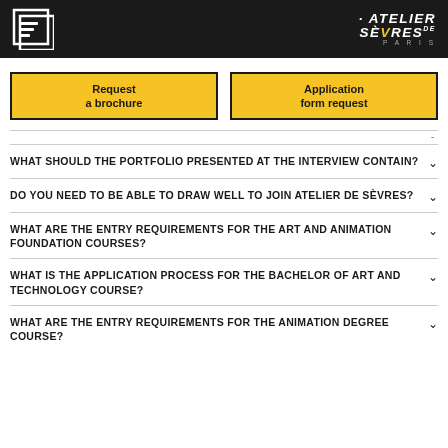L'Atelier Sèvres de Paris
Request a brochure
Application form request
WHAT SHOULD THE PORTFOLIO PRESENTED AT THE INTERVIEW CONTAIN?
DO YOU NEED TO BE ABLE TO DRAW WELL TO JOIN ATELIER DE SÈVRES?
WHAT ARE THE ENTRY REQUIREMENTS FOR THE ART AND ANIMATION FOUNDATION COURSES?
WHAT IS THE APPLICATION PROCESS FOR THE BACHELOR OF ART AND TECHNOLOGY COURSE?
WHAT ARE THE ENTRY REQUIREMENTS FOR THE ANIMATION DEGREE COURSE?